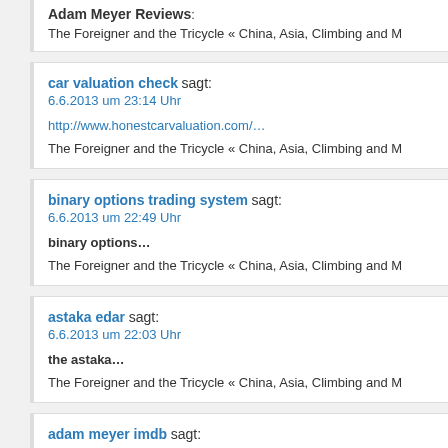Adam Meyer Reviews:… The Foreigner and the Tricycle « China, Asia, Climbing and M...
car valuation check sagt:
6.6.2013 um 23:14 Uhr
http://www.honestcarvaluation.com/...
The Foreigner and the Tricycle « China, Asia, Climbing and M...
binary options trading system sagt:
6.6.2013 um 22:49 Uhr
binary options...
The Foreigner and the Tricycle « China, Asia, Climbing and M...
astaka edar sagt:
6.6.2013 um 22:03 Uhr
the astaka...
The Foreigner and the Tricycle « China, Asia, Climbing and M...
adam meyer imdb sagt: